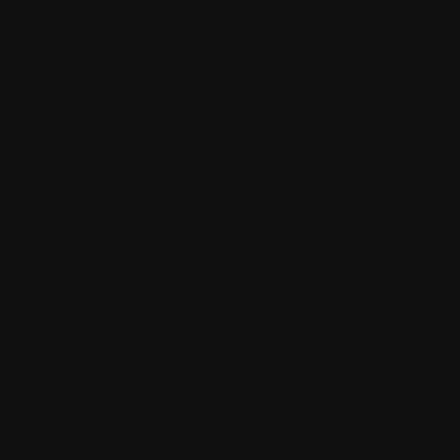Heavy Armor
Light Armor
Combat Accessories
Weapons M...
An apprentice ta...
Echoes of the Spe...
Hidden treasure...
| Slot | Item |
| --- | --- |
| On feet | pa... 'Ol... |
| On hands | Bla... |
| On head | Isu... |
| Tool | elm... |